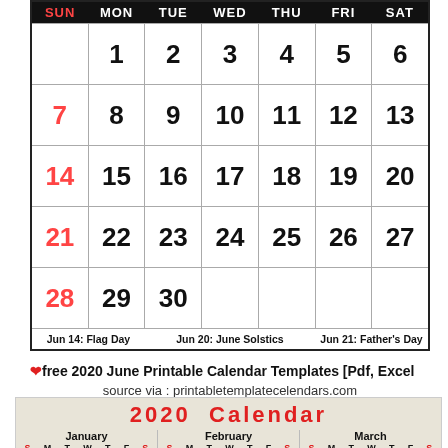| SUN | MON | TUE | WED | THU | FRI | SAT |
| --- | --- | --- | --- | --- | --- | --- |
|  | 1 | 2 | 3 | 4 | 5 | 6 |
| 7 | 8 | 9 | 10 | 11 | 12 | 13 |
| 14 | 15 | 16 | 17 | 18 | 19 | 20 |
| 21 | 22 | 23 | 24 | 25 | 26 | 27 |
| 28 | 29 | 30 |  |  |  |  |
❤free 2020 June Printable Calendar Templates [Pdf, Excel
source via : printabletemplatecelendars.com
2020  Calendar
| January S M T W T F S | February S M T W T F S | March S M T W T F S |
| --- | --- | --- |